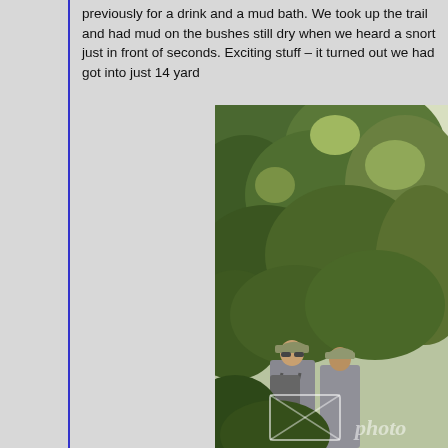previously for a drink and a mud bath. We took up the trail and had mud on the bushes still dry when we heard a snort just in front of seconds. Exciting stuff – it turned out we had got into just 14 yard
[Figure (photo): Photo of two people wearing caps and backpacks standing on a trail surrounded by dense tropical bush and green vegetation. A watermark appears in the lower portion of the image.]